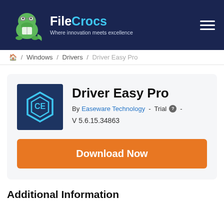FileCrocs — Where innovation meets excellence
/ windows / Drivers / Driver Easy Pro
Driver Easy Pro
By Easeware Technology - Trial - V 5.6.15.34863
Download Now
Additional Information